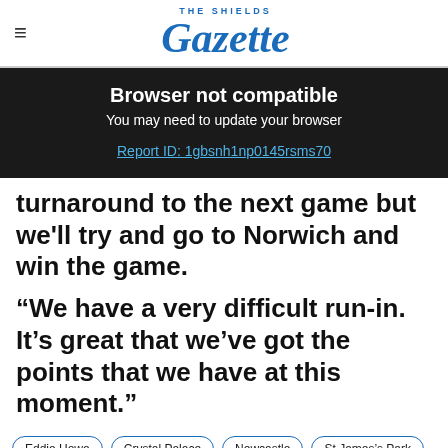THE SHIELDS Gazette
Browser not compatible
You may need to update your browser
Report ID: 1gbsnh1np0145rsms70
turnaround to the next game but we'll try and go to Norwich and win the game.
“We have a very difficult run-in. It’s great that we’ve got the points that we have at this moment.”
Eddie Howe
Crystal Palace
Newcastle
St James’s Park
Social share icons: Facebook, Twitter, Phone, Email